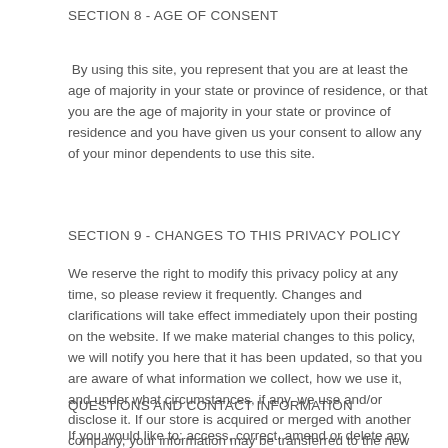SECTION 8 - AGE OF CONSENT
By using this site, you represent that you are at least the age of majority in your state or province of residence, or that you are the age of majority in your state or province of residence and you have given us your consent to allow any of your minor dependents to use this site.
SECTION 9 - CHANGES TO THIS PRIVACY POLICY
We reserve the right to modify this privacy policy at any time, so please review it frequently. Changes and clarifications will take effect immediately upon their posting on the website. If we make material changes to this policy, we will notify you here that it has been updated, so that you are aware of what information we collect, how we use it, and under what circumstances, if any, we use and/or disclose it. If our store is acquired or merged with another company, your information may be transferred to the new owners so that we may continue to sell products to you.
QUESTIONS AND CONTACT INFORMATION
If you would like to: access, correct, amend or delete any